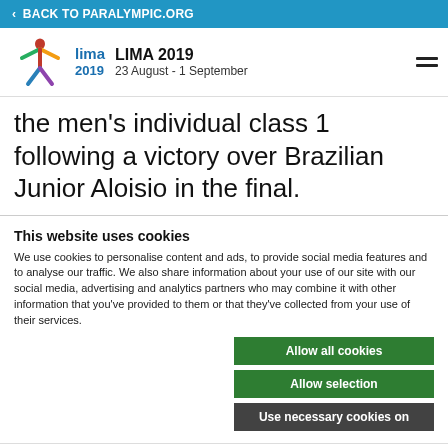< BACK TO PARALYMPIC.ORG
[Figure (logo): Lima 2019 Parapan American Games logo with colorful figure and Lima 2019 text]
LIMA 2019 23 August - 1 September
the men's individual class 1 following a victory over Brazilian Junior Aloisio in the final.
This website uses cookies
We use cookies to personalise content and ads, to provide social media features and to analyse our traffic. We also share information about your use of our site with our social media, advertising and analytics partners who may combine it with other information that you've provided to them or that they've collected from your use of their services.
Allow all cookies
Allow selection
Use necessary cookies on
Necessary   Preferences   Statistics   Show details
Marketing
Schedule and full results are avai
on our Lima 2019 website.